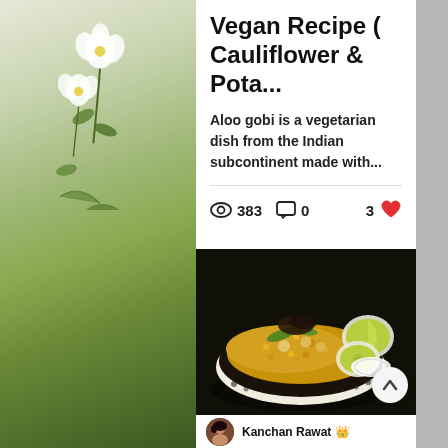Vegan Recipe ( Cauliflower & Pota...
Aloo gobi is a vegetarian dish from the Indian subcontinent made with...
383  0  3
[Figure (photo): Food photo showing a bowl of aloo gobi (yellow rice/cauliflower dish) with lime wedges and crispy toppings, garnished with cilantro, on a dark background. A circular up-arrow button overlays the bottom right.]
Kanchan Rawat 👑